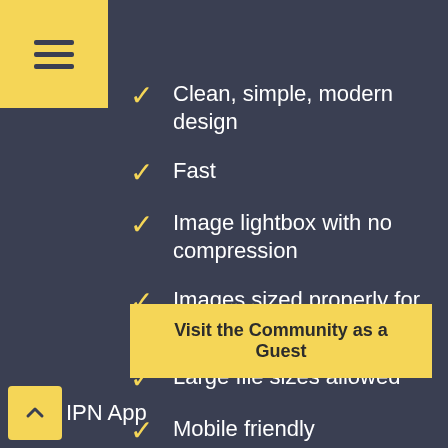[Figure (illustration): Yellow square with hamburger menu icon (three horizontal lines) in top-left corner]
Clean, simple, modern design
Fast
Image lightbox with no compression
Images sized properly for screen
Large file sizes allowed
Mobile friendly
Visit the Community as a Guest
IPN App